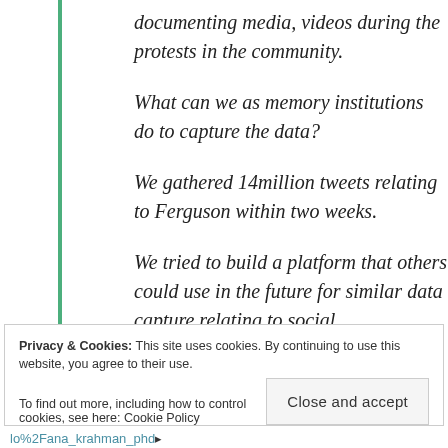documenting media, videos during the protests in the community.
What can we as memory institutions do to capture the data?
We gathered 14million tweets relating to Ferguson within two weeks.
We tried to build a platform that others could use in the future for similar data capture relating to social.
Privacy & Cookies: This site uses cookies. By continuing to use this website, you agree to their use. To find out more, including how to control cookies, see here: Cookie Policy
lo%2Fana_krahman_phd